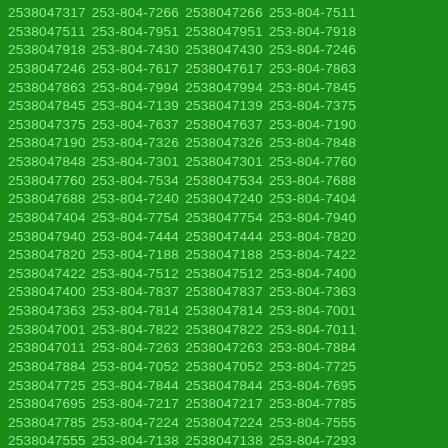2538047317 253-804-7266 2538047266 253-804-7511 2538047511 253-804-7951 2538047951 253-804-7918 2538047918 253-804-7430 2538047430 253-804-7246 2538047246 253-804-7617 2538047617 253-804-7863 2538047863 253-804-7994 2538047994 253-804-7845 2538047845 253-804-7139 2538047139 253-804-7375 2538047375 253-804-7637 2538047637 253-804-7190 2538047190 253-804-7326 2538047326 253-804-7848 2538047848 253-804-7301 2538047301 253-804-7760 2538047760 253-804-7534 2538047534 253-804-7688 2538047688 253-804-7240 2538047240 253-804-7404 2538047404 253-804-7754 2538047754 253-804-7940 2538047940 253-804-7444 2538047444 253-804-7820 2538047820 253-804-7188 2538047188 253-804-7422 2538047422 253-804-7512 2538047512 253-804-7400 2538047400 253-804-7837 2538047837 253-804-7363 2538047363 253-804-7814 2538047814 253-804-7001 2538047001 253-804-7822 2538047822 253-804-7011 2538047011 253-804-7263 2538047263 253-804-7884 2538047884 253-804-7052 2538047052 253-804-7725 2538047725 253-804-7844 2538047844 253-804-7695 2538047695 253-804-7217 2538047217 253-804-7785 2538047785 253-804-7224 2538047224 253-804-7555 2538047555 253-804-7138 2538047138 253-804-7293 2538047293 253-804-7151 2538047151 253-804-7185 2538047185 253-804-7305 2538047305 253-804-7345 2538047345 253-804-7744 2538047744 253-804-7652